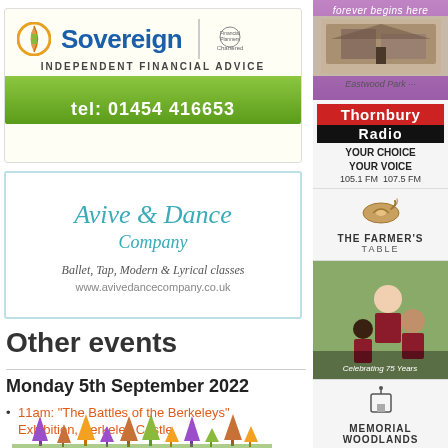[Figure (advertisement): Sovereign Independent Financial Advice ad with logo, trees, and phone number tel: 01454 416653]
[Figure (advertisement): Avive & Dance Company ad — Ballet, Tap, Modern & Lyrical classes, www.avivedancecompany.co.uk]
Other events
Monday 5th September 2022
11am: “The Battles of the Berkeleys” Exhibition, Berkeley Castle
[Figure (advertisement): forever begins here — Eastwood Park advertisement]
[Figure (advertisement): Thornbury Radio — YOUR CHOICE YOUR VOICE 105.1 FM 107.5 FM]
[Figure (advertisement): The Farmer’s Table advertisement with teapot icon]
[Figure (advertisement): School advertisement — Celebrating 75 Years]
[Figure (advertisement): Memorial Woodlands advertisement]